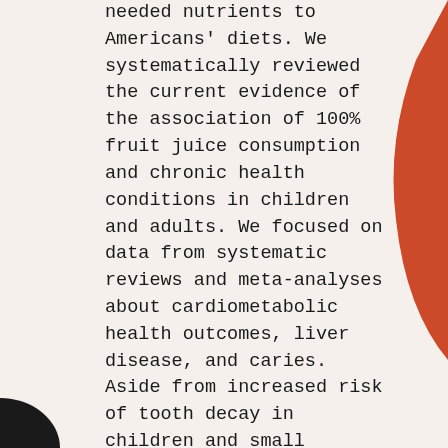needed nutrients to Americans' diets. We systematically reviewed the current evidence of the association of 100% fruit juice consumption and chronic health conditions in children and adults. We focused on data from systematic reviews and meta-analyses about cardiometabolic health outcomes, liver disease, and caries. Aside from increased risk of tooth decay in children and small amounts of weight gain in young children and adults, there is no conclusive evidence that consumption of 100% fruit juice has adverse health effects. Guidelines from groups like the American Academy of Pediatrics and Dietary Guidelines for Americans recommending that 100% fruit juice may be consumed in moderation are consistent with the available evidence and should be used to inform food policies.